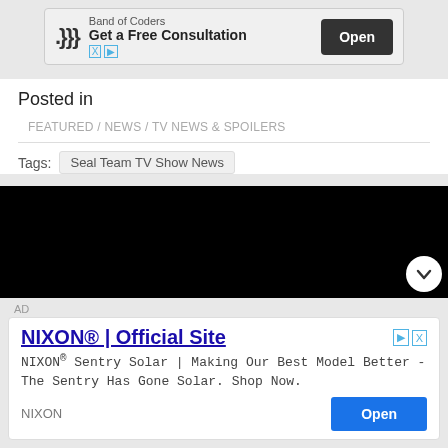[Figure (screenshot): Advertisement banner: Band of Coders - Get a Free Consultation, Open button]
Posted in
FEATURED / NEWS / TV NEWS & SPOILERS
Tags: Seal Team TV Show News
[Figure (screenshot): Black video player embed with a white chevron/close button in bottom right]
AD
[Figure (screenshot): Advertisement: NIXON® | Official Site - NIXON® Sentry Solar | Making Our Best Model Better - The Sentry Has Gone Solar. Shop Now. Open button]